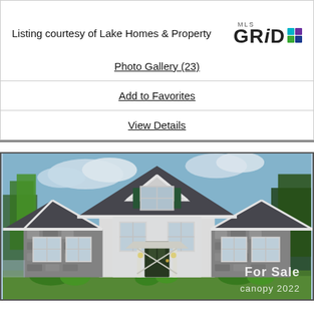Listing courtesy of Lake Homes & Property
[Figure (logo): MLS GRID logo with colored squares icon]
Photo Gallery (23)
Add to Favorites
View Details
[Figure (photo): Exterior photo of a craftsman-style home with stone accents, gabled rooflines, white trim, and lush landscaping. Watermark reads 'For Sale canopy 2022'.]